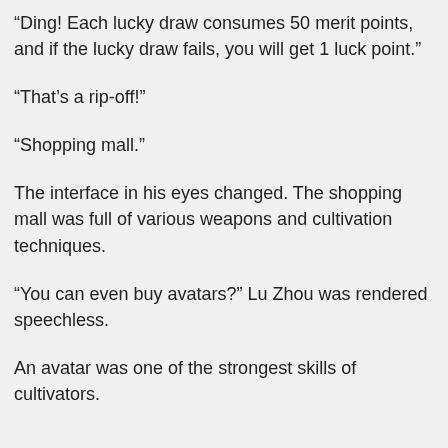“Ding! Each lucky draw consumes 50 merit points, and if the lucky draw fails, you will get 1 luck point.”
“That’s a rip-off!”
“Shopping mall.”
The interface in his eyes changed. The shopping mall was full of various weapons and cultivation techniques.
“You can even buy avatars?” Lu Zhou was rendered speechless.
An avatar was one of the strongest skills of cultivators.